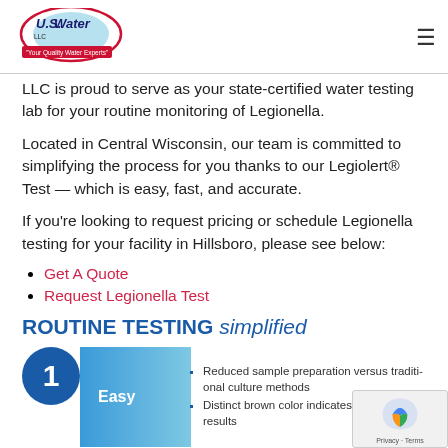U.S. Water — Your Quality Water Experts [logo] [hamburger menu]
LLC is proud to serve as your state-certified water testing lab for your routine monitoring of Legionella.
Located in Central Wisconsin, our team is committed to simplifying the process for you thanks to our Legiolert® Test — which is easy, fast, and accurate.
If you're looking to request pricing or schedule Legionella testing for your facility in Hillsboro, please see below:
Get A Quote
Request Legionella Test
ROUTINE TESTING simplified
1 Easy — Reduced sample preparation versus traditional culture methods. Distinct brown color indicates positive results.